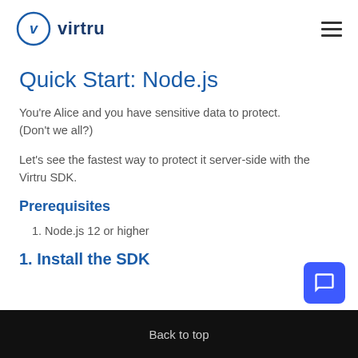Virtru
Quick Start: Node.js
You're Alice and you have sensitive data to protect. (Don't we all?)
Let's see the fastest way to protect it server-side with the Virtru SDK.
Prerequisites
1. Node.js 12 or higher
1. Install the SDK
Back to top